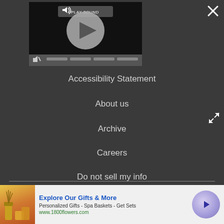[Figure (screenshot): Video player with play button, speaker/sound icon, PLAY SOUND label, mute icon, and progress bar segments on dark background]
Accessibility Statement
About us
Archive
Careers
Do not sell my info
[Figure (screenshot): Advertisement banner: Explore Our Gifts & More - Personalized Gifts - Spa Baskets - Get Sets - www.1800flowers.com with arrow button]
Explore Our Gifts & More
Personalized Gifts - Spa Baskets - Get Sets
www.1800flowers.com